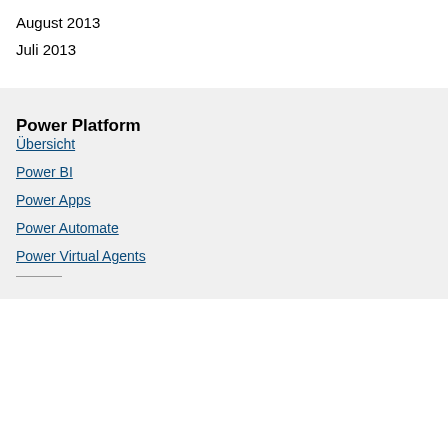August 2013
Juli 2013
Power Platform
Übersicht
Power BI
Power Apps
Power Automate
Power Virtual Agents